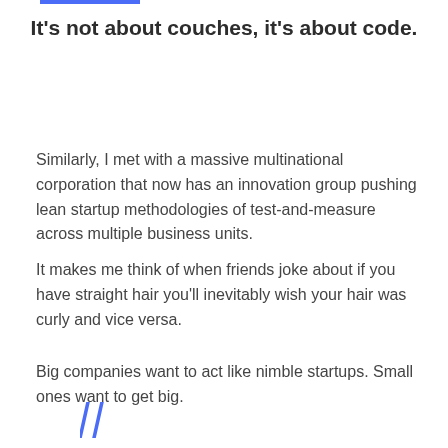It's not about couches, it's about code.
Similarly, I met with a massive multinational corporation that now has an innovation group pushing lean startup methodologies of test-and-measure across multiple business units.
It makes me think of when friends joke about if you have straight hair you'll inevitably wish your hair was curly and vice versa.
Big companies want to act like nimble startups. Small ones want to get big.